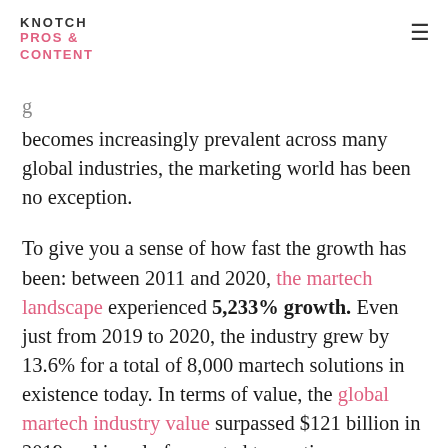KNOTCH PROS & CONTENT
becomes increasingly prevalent across many global industries, the marketing world has been no exception.

To give you a sense of how fast the growth has been: between 2011 and 2020, the martech landscape experienced 5,233% growth. Even just from 2019 to 2020, the industry grew by 13.6% for a total of 8,000 martech solutions in existence today. In terms of value, the global martech industry value surpassed $121 billion in 2019 and is only forecasted to continue